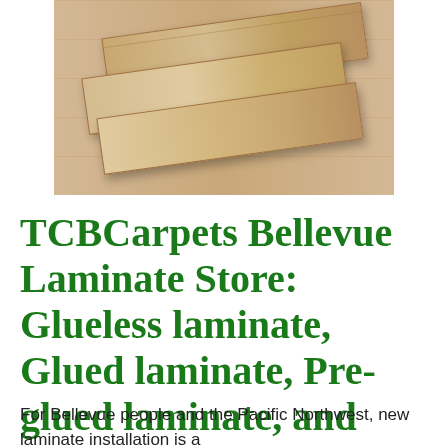[Figure (photo): Photo of laminate flooring planks stacked at an angle on a wood floor background, showing the layered construction of the planks.]
TCBCarpets Bellevue Laminate Store: Glueless laminate, Glued laminate, Pre-glued laminate, and more!
For Bellevue people and the Pacific Northwest, new laminate installation is a